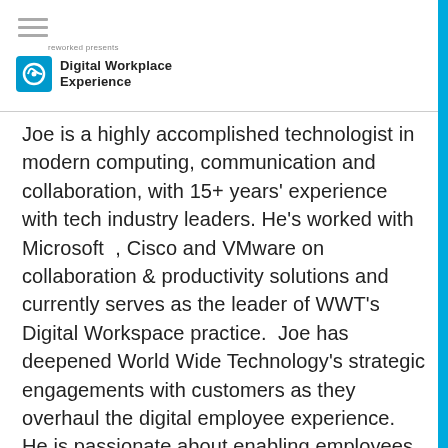reworked presents Digital Workplace Experience
Joe is a highly accomplished technologist in modern computing, communication and collaboration, with 15+ years' experience with tech industry leaders. He's worked with Microsoft , Cisco and VMware on collaboration & productivity solutions and currently serves as the leader of WWT's Digital Workspace practice.  Joe has deepened World Wide Technology's strategic engagements with customers as they overhaul the digital employee experience. He is passionate about enabling employees and simplifying their experiences to truly unlock employee engagement and productivity.  He is a frequent speaker and contributor...